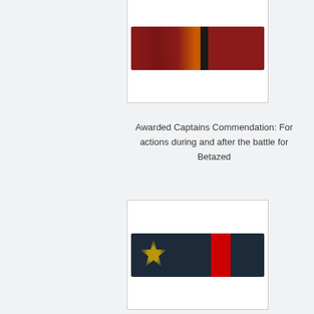[Figure (illustration): A dark red military/service ribbon with an orange and black vertical stripe near the center, displayed in a white bordered box.]
Awarded Captains Commendation: For actions during and after the battle for Betazed
[Figure (illustration): A dark navy/blue ribbon with a bright red vertical stripe on the right portion and a gold Starfleet delta/chevron emblem on the left, displayed in a white bordered box.]
Awarded The Order of Unity: Awarded in commemoration